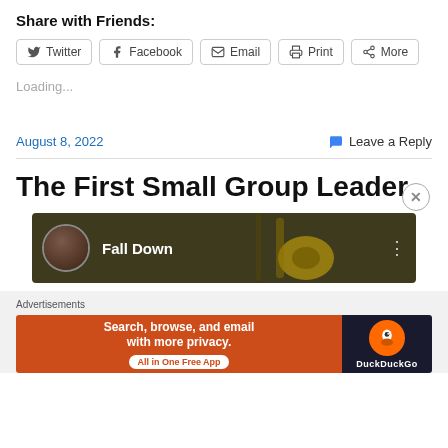Share with Friends:
Twitter | Facebook | Email | Print | More
Loading...
August 8, 2022
Leave a Reply
The First Small Group Leader
[Figure (screenshot): Music player showing 'Fall Down' track with artist avatar and guitar background]
Advertisements
[Figure (screenshot): DuckDuckGo advertisement banner: 'Search, browse, and email with more privacy. All in One Free App']